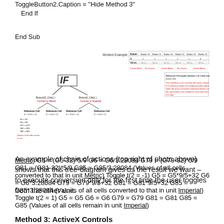ToggleButton2.Caption = "Hide Method 3"
 End If

End Sub
[Figure (flowchart): Tree diagram showing IF condition logic for Metric/Imperial conversion with worked example table at top right. Shows Button22_Click() Convert to Metric and Button2_Click() Convert to Imperial branches with Reference Cell conditions and formula assignments.]
An example of chain of actions (top right of photo above) shows that this tree-diagram gives us the result we want – to execute conversion only for the first time the user toggles from the other unit.
Method 3: ActiveX Controls